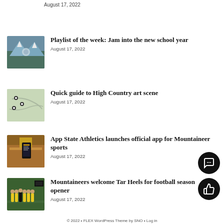August 17, 2022
Playlist of the week: Jam into the new school year
August 17, 2022
Quick guide to High Country art scene
August 17, 2022
App State Athletics launches official app for Mountaineer sports
August 17, 2022
Mountaineers welcome Tar Heels for football season opener
August 17, 2022
© 2022 • FLEX WordPress Theme by SNO • Log in